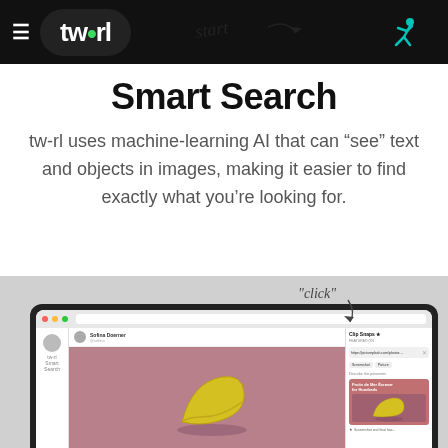[Figure (screenshot): Navigation bar with hamburger menu, tw-rl logo pill, handwritten 'start' with arrow annotation, and a running person icon button]
Smart Search
tw-rl uses machine-learning AI that can “see” text and objects in images, making it easier to find exactly what you’re looking for.
[Figure (screenshot): Screenshot of tw-rl web application showing a tablet interface with a banana image being searched, with a sidebar panel open showing image URL and search results including a thumbnail of a banana]